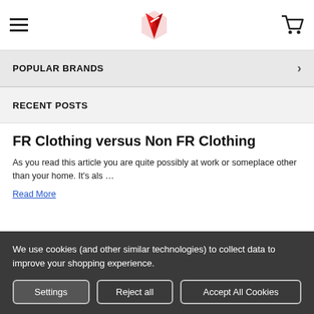Navigation bar with hamburger menu, logo, and cart icon
POPULAR BRANDS
RECENT POSTS
FR Clothing versus Non FR Clothing
As you read this article you are quite possibly at work or someplace other than your home. It's als …
Read More
Not All Momentary Thermal Hazards Are Equal
We use cookies (and other similar technologies) to collect data to improve your shopping experience.
Settings | Reject all | Accept All Cookies